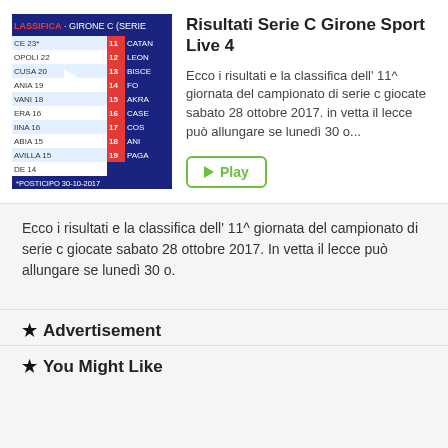[Figure (screenshot): Thumbnail of a Serie C Girone C standings table with a play button overlay, showing team names and points numbers in a dark blue/white/red table layout. Bottom shows '*POSTICIPO 30-10-2017'.]
Risultati Serie C Girone Sport Live 4
Ecco i risultati e la classifica dell' 11^ giornata del campionato di serie c giocate sabato 28 ottobre 2017. in vetta il lecce può allungare se lunedì 30 o...
Ecco i risultati e la classifica dell' 11^ giornata del campionato di serie c giocate sabato 28 ottobre 2017. In vetta il lecce può allungare se lunedì 30 o.
★ Advertisement
★ You Might Like